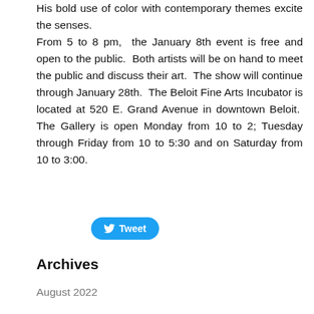His bold use of color with contemporary themes excite the senses. From 5 to 8 pm, the January 8th event is free and open to the public. Both artists will be on hand to meet the public and discuss their art. The show will continue through January 28th. The Beloit Fine Arts Incubator is located at 520 E. Grand Avenue in downtown Beloit. The Gallery is open Monday from 10 to 2; Tuesday through Friday from 10 to 5:30 and on Saturday from 10 to 3:00.
[Figure (other): Twitter Tweet button]
Archives
August 2022